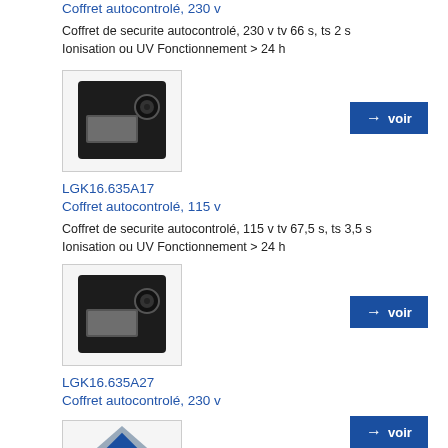Coffret autocontrolé, 230 v
Coffret de securite autocontrolé, 230 v tv 66 s, ts 2 s
Ionisation ou UV Fonctionnement > 24 h
[Figure (photo): Photo of LGK16.635A17 product, a black control box device]
LGK16.635A17
Coffret autocontrolé, 115 v
Coffret de securite autocontrolé, 115 v tv 67,5 s, ts 3,5 s
Ionisation ou UV Fonctionnement > 24 h
[Figure (photo): Photo of LGK16.635A27 product, a black control box device]
LGK16.635A27
Coffret autocontrolé, 230 v
Coffret de securite autocontrolé, 230 v tv 67,5 s, ts 3,5 s
Ionisation ou UV Fonctionnement > 24 h
[Figure (logo): Blue diamond and circle logo at bottom]